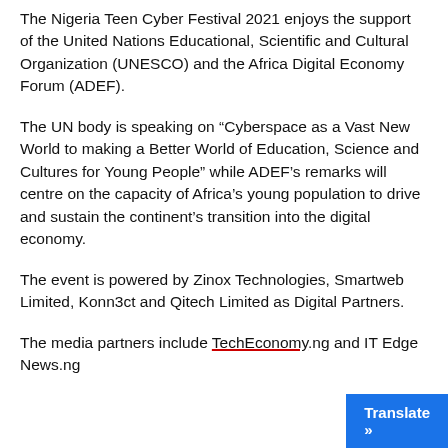The Nigeria Teen Cyber Festival 2021 enjoys the support of the United Nations Educational, Scientific and Cultural Organization (UNESCO) and the Africa Digital Economy Forum (ADEF).
The UN body is speaking on “Cyberspace as a Vast New World to making a Better World of Education, Science and Cultures for Young People” while ADEF’s remarks will centre on the capacity of Africa’s young population to drive and sustain the continent’s transition into the digital economy.
The event is powered by Zinox Technologies, Smartweb Limited, Konn3ct and Qitech Limited as Digital Partners.
The media partners include TechEconomy.ng and IT Edge News.ng